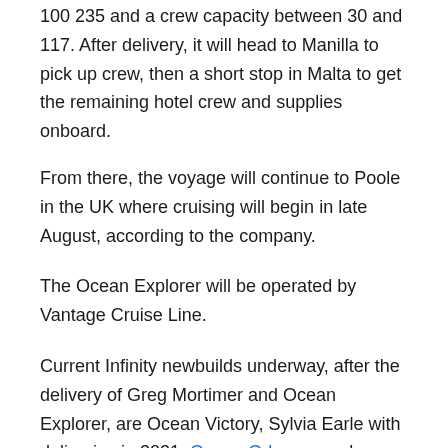100 235 and a crew capacity between 30 and 117. After delivery, it will head to Manilla to pick up crew, then a short stop in Malta to get the remaining hotel crew and supplies onboard.
From there, the voyage will continue to Poole in the UK where cruising will begin in late August, according to the company.
The Ocean Explorer will be operated by Vantage Cruise Line.
Current Infinity newbuilds underway, after the delivery of Greg Mortimer and Ocean Explorer, are Ocean Victory, Sylvia Earle with deliveries in 2021, Ocean Odyssey and Ocean Albatros in 2022, and Ocean Discoverer in 2023.